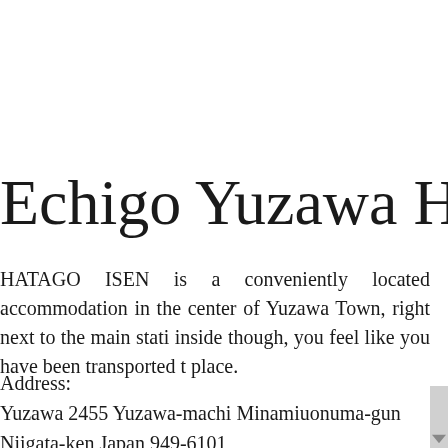Echigo Yuzawa HATAGO
HATAGO ISEN is a conveniently located accommodation in the center of Yuzawa Town, right next to the main station. inside though, you feel like you have been transported to place.
Address:
Yuzawa 2455 Yuzawa-machi Minamiuonuma-gun
Niigata-ken Japan 949-6101
Telephone (General Enquiries):